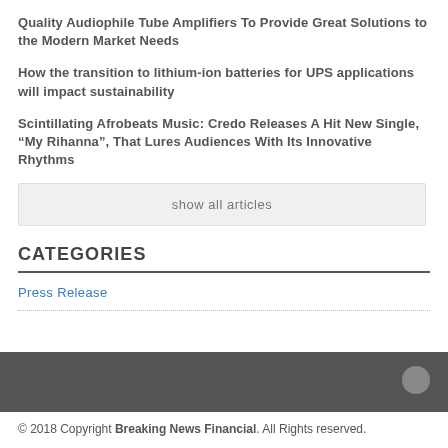Quality Audiophile Tube Amplifiers To Provide Great Solutions to the Modern Market Needs
How the transition to lithium-ion batteries for UPS applications will impact sustainability
Scintillating Afrobeats Music: Credo Releases A Hit New Single, “My Rihanna”, That Lures Audiences With Its Innovative Rhythms
show all articles
CATEGORIES
Press Release
© 2018 Copyright Breaking News Financial. All Rights reserved.